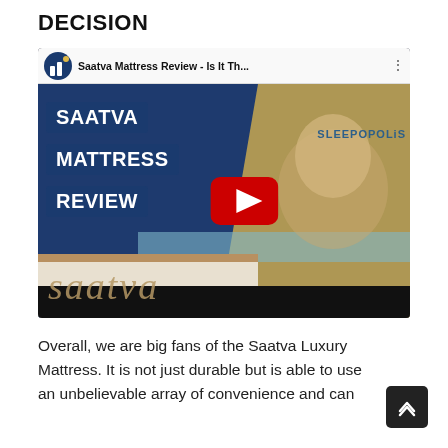DECISION
[Figure (screenshot): YouTube video thumbnail for 'Saatva Mattress Review - Is It Th...' by Sleepopolis, showing a man leaning on a Saatva mattress with text overlays 'SAATVA MATTRESS REVIEW' and a YouTube play button in the center. The saatva brand name appears in cursive at the bottom.]
Overall, we are big fans of the Saatva Luxury Mattress. It is not just durable but is able to use an unbelievable array of convenience and can